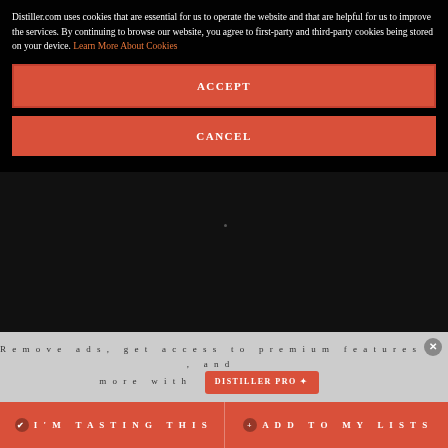Distiller.com uses cookies that are essential for us to operate the website and that are helpful for us to improve the services. By continuing to browse our website, you agree to first-party and third-party cookies being stored on your device. Learn More About Cookies
ACCEPT
CANCEL
Remove ads, get access to premium features, and more with DISTILLER PRO
I'M TASTING THIS
ADD TO MY LISTS